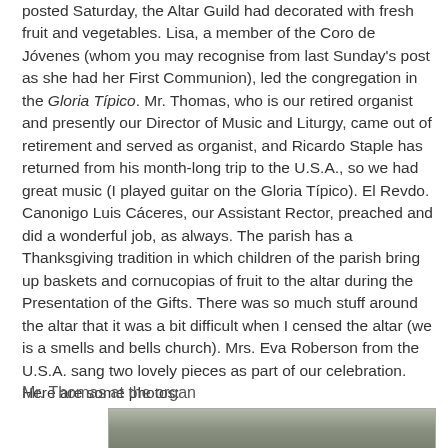posted Saturday, the Altar Guild had decorated with fresh fruit and vegetables. Lisa, a member of the Coro de Jóvenes (whom you may recognise from last Sunday's post as she had her First Communion), led the congregation in the Gloria Típico. Mr. Thomas, who is our retired organist and presently our Director of Music and Liturgy, came out of retirement and served as organist, and Ricardo Staple has returned from his month-long trip to the U.S.A., so we had great music (I played guitar on the Gloria Típico). El Revdo. Canonigo Luis Cáceres, our Assistant Rector, preached and did a wonderful job, as always. The parish has a Thanksgiving tradition in which children of the parish bring up baskets and cornucopias of fruit to the altar during the Presentation of the Gifts. There was so much stuff around the altar that it was a bit difficult when I censed the altar (we is a smells and bells church). Mrs. Eva Roberson from the U.S.A. sang two lovely pieces as part of our celebration. Here are some photos:
Mr. Thomas at the organ
[Figure (photo): Partial photo of a person (Mr. Thomas) at the organ, partially visible at the bottom of the page.]